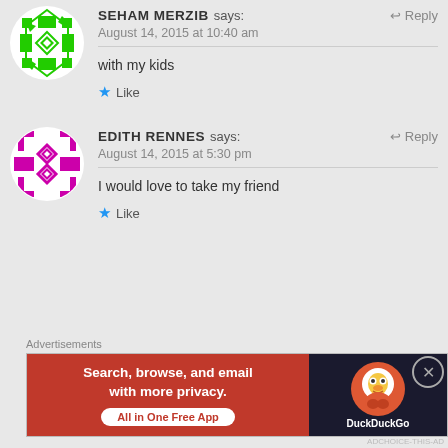[Figure (illustration): Green geometric snowflake/quilt pattern avatar in a circle for user SEHAM MERZIB]
SEHAM MERZIB says:
August 14, 2015 at 10:40 am
with my kids
★ Like
[Figure (illustration): Magenta/pink geometric diamond pattern avatar in a circle for user EDITH RENNES]
EDITH RENNES says:
August 14, 2015 at 5:30 pm
I would love to take my friend
★ Like
Advertisements
[Figure (screenshot): DuckDuckGo advertisement banner: 'Search, browse, and email with more privacy. All in One Free App' on red background with DuckDuckGo logo on dark background]